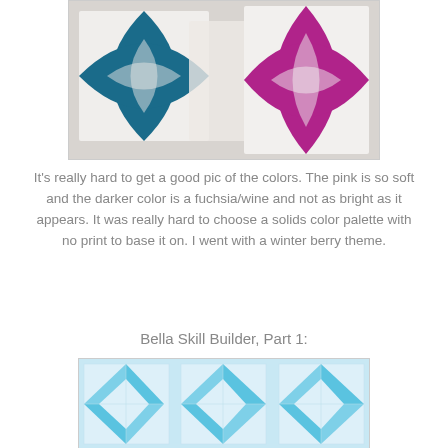[Figure (photo): Two quilted fabric blocks on a light background: one with a teal/dark blue cathedral windows or orange peel pattern on white fabric, and one with a fuchsia/magenta similar pattern on white fabric, slightly overlapping.]
It's really hard to get a good pic of the colors. The pink is so soft and the darker color is a fuchsia/wine and not as bright as it appears. It was really hard to choose a solids color palette with no print to base it on. I went with a winter berry theme.
Bella Skill Builder, Part 1:
[Figure (photo): A row of quilted fabric blocks in light blue/teal on a white background, showing a geometric star or pinwheel pattern arranged in a horizontal strip.]